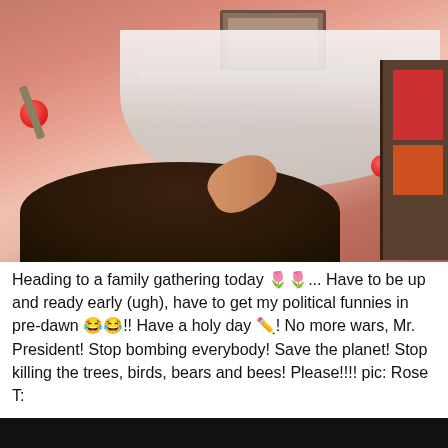[Figure (photo): A bedroom scene with a person lying in bed, pink/red ambient lighting, white draped fabric hung on the wall, a wooden shelf, a picture frame, red ornament decorations, a bookshelf on the right with red books, and a hand visible in the foreground.]
Heading to a family gathering today 🌷🌷... Have to be up and ready early (ugh), have to get my political funnies in pre-dawn 😂😂!! Have a holy day ✏️! No more wars, Mr. President! Stop bombing everybody! Save the planet! Stop killing the trees, birds, bears and bees! Please!!!! pic: Rose T:
[Figure (photo): Dark image at the bottom, partially visible.]